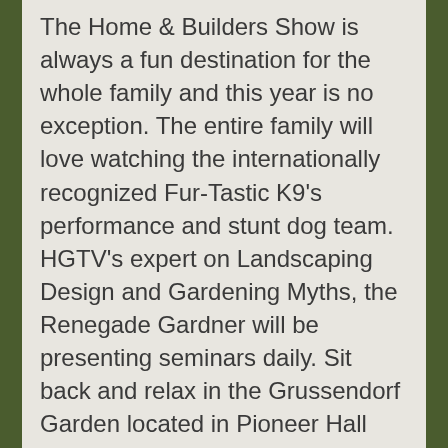The Home & Builders Show is always a fun destination for the whole family and this year is no exception. The entire family will love watching the internationally recognized Fur-Tastic K9's performance and stunt dog team. HGTV's expert on Landscaping Design and Gardening Myths, the Renegade Gardner will be presenting seminars daily. Sit back and relax in the Grussendorf Garden located in Pioneer Hall and watch World Champion and Guinness book of record Sand Sculptor Ted Seibert create an unbelievable masterpiece with his hands. Minnesota's expert Joel Karsten will share his Straw Bale Gardening tips. Visit the colorful Parakeet Landing. Bring the kids and stop